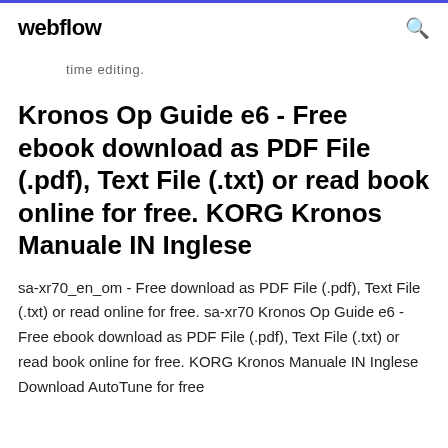webflow
time editing.
Kronos Op Guide e6 - Free ebook download as PDF File (.pdf), Text File (.txt) or read book online for free. KORG Kronos Manuale IN Inglese
sa-xr70_en_om - Free download as PDF File (.pdf), Text File (.txt) or read online for free. sa-xr70 Kronos Op Guide e6 - Free ebook download as PDF File (.pdf), Text File (.txt) or read book online for free. KORG Kronos Manuale IN Inglese Download AutoTune for free